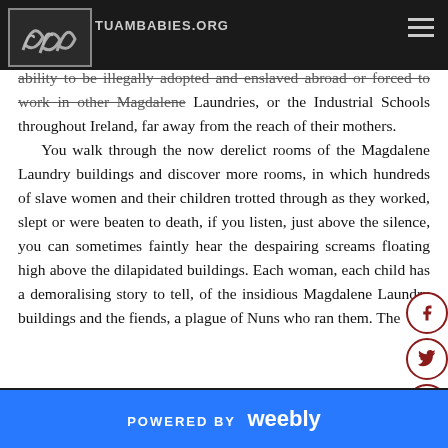TUAMBABIES.ORG
ability to be illegally adopted and enslaved abroad or forced to work in other Magdalene Laundries, or the Industrial Schools throughout Ireland, far away from the reach of their mothers.
    You walk through the now derelict rooms of the Magdalene Laundry buildings and discover more rooms, in which hundreds of slave women and their children trotted through as they worked, slept or were beaten to death, if you listen, just above the silence, you can sometimes faintly hear the despairing screams floating high above the dilapidated buildings. Each woman, each child has a demoralising story to tell, of the insidious Magdalene Laundry buildings and the fiends, a plague of Nuns who ran them. The
POWERED BY weebly